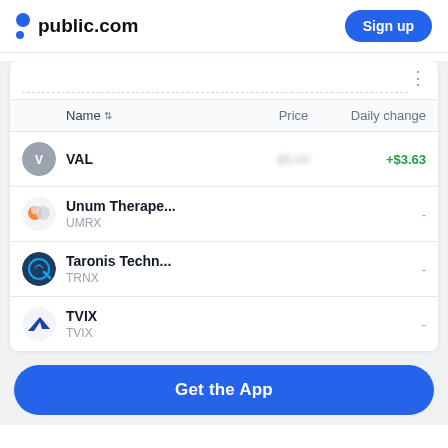public.com — Sign up
| Name | Price | Daily change |
| --- | --- | --- |
| VAL | $5.00 (blurred) | +$3.63 |
| Unum Therape... / UMRX | - | - |
| Taronis Techn... / TRNX | - | - |
| TVIX / TVIX | - | - |
Get the App